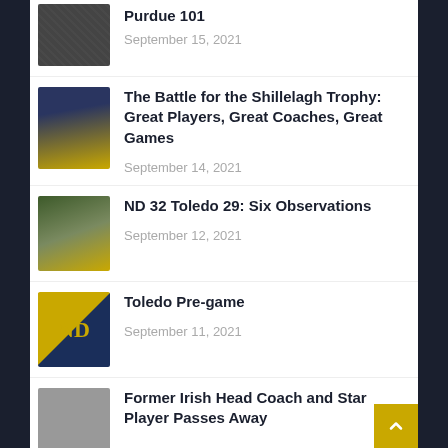Purdue 101 — September 15, 2021
The Battle for the Shillelagh Trophy: Great Players, Great Coaches, Great Games — September 14, 2021
ND 32 Toledo 29: Six Observations — September 12, 2021
Toledo Pre-game — September 11, 2021
Former Irish Head Coach and Star Player Passes Away